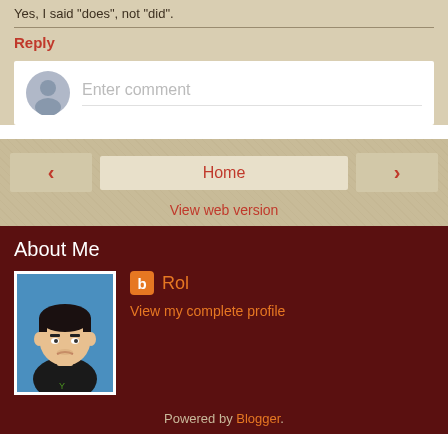Yes, I said "does", not "did".
Reply
[Figure (other): Comment input box with gray avatar icon and 'Enter comment' placeholder text]
[Figure (other): Navigation bar with left arrow, Home button, right arrow, and View web version link]
About Me
[Figure (illustration): Illustrated cartoon profile photo of a man with dark hair, on a blue background]
Rol
View my complete profile
Powered by Blogger.